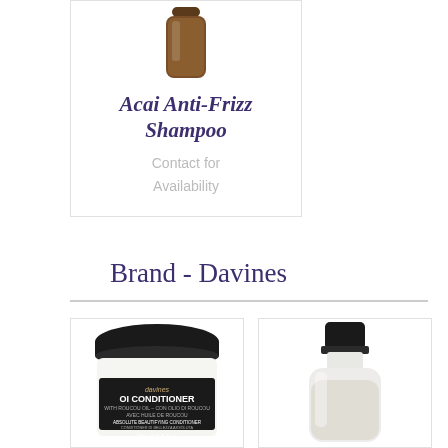[Figure (photo): Acai Anti-Frizz Shampoo product bottle (brown bottle with cap, top portion visible)]
Acai Anti-Frizz Shampoo
Contact for Availability
Brand - Davines
[Figure (photo): Davines OI Conditioner jar with black lid - black label reading 'davines OI CONDITIONER WITH ROUCOU OIL, ABSOLUTE BEAUTIFYING CONDITIONER, 250ml']
[Figure (photo): Davines conditioner or shampoo bottle with black cap, frosted/clear bottle with cream/white product inside]